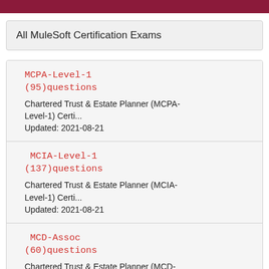All MuleSoft Certification Exams
MCPA-Level-1
(95)questions
Chartered Trust & Estate Planner (MCPA-Level-1) Certi...
Updated: 2021-08-21
MCIA-Level-1
(137)questions
Chartered Trust & Estate Planner (MCIA-Level-1) Certi...
Updated: 2021-08-21
MCD-Assoc
(60)questions
Chartered Trust & Estate Planner (MCD-